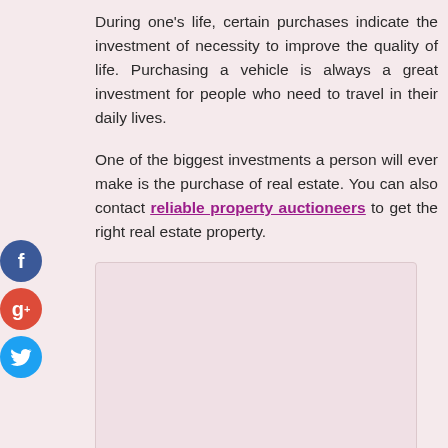During one's life, certain purchases indicate the investment of necessity to improve the quality of life. Purchasing a vehicle is always a great investment for people who need to travel in their daily lives.
One of the biggest investments a person will ever make is the purchase of real estate. You can also contact reliable property auctioneers to get the right real estate property.
[Figure (other): Empty pink/light placeholder image box]